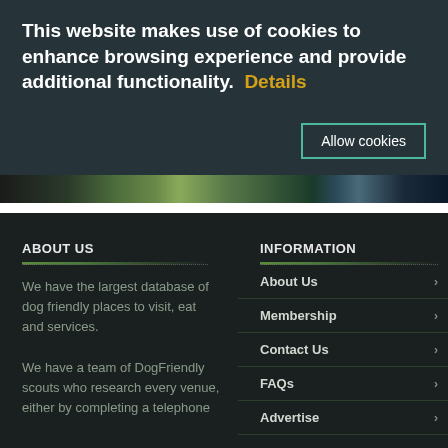This website makes use of cookies to enhance browsing experience and provide additional functionality.  Details
Allow cookies
[Figure (screenshot): Partial image strip showing colorful outdoor/nature scene]
ABOUT US
We have the largest database of dog friendly places to visit, eat and services.
We have a team of DogFriendly scouts who research every venue, either by completing a telephone
INFORMATION
About Us
Membership
Contact Us
FAQs
Advertise